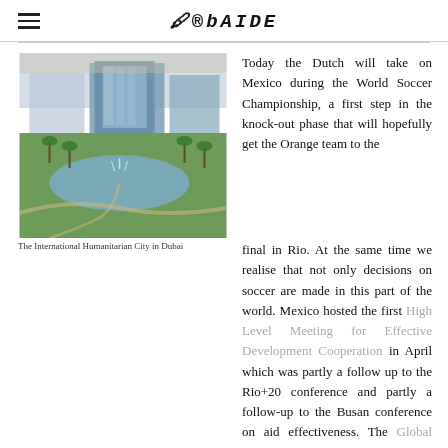UBAIDE
[Figure (photo): Aerial view of the International Humanitarian City in Dubai, showing modern glass buildings, landscaped gardens with water features, fountains, palm trees and pathways in a desert setting.]
The International Humanitarian City in Dubai
Today the Dutch will take on Mexico during the World Soccer Championship, a first step in the knock-out phase that will hopefully get the Orange team to the final in Rio. At the same time we realise that not only decisions on soccer are made in this part of the world. Mexico hosted the first High Level Meeting for Effective Development Cooperation in April which was partly a follow up to the Rio+20 conference and partly a follow-up to the Busan conference on aid effectiveness. The Global Partnership wants to help nations, business and organisations work better together to end poverty